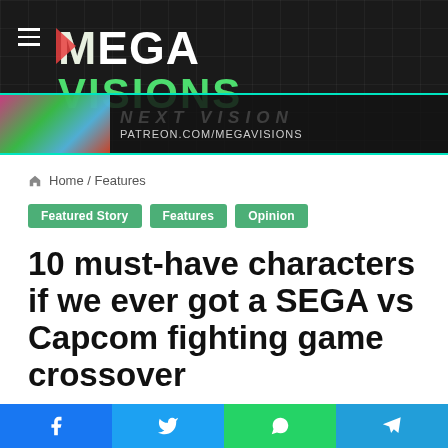[Figure (logo): Mega Visions logo with hamburger menu on dark grid background, and a promotional banner strip for Patreon at the bottom]
Home / Features
Featured Story   Features   Opinion
10 must-have characters if we ever got a SEGA vs Capcom fighting game crossover
What's your dream SEGA vs. Capcom match?
Sam Fronsman   May 19, 2022   2   1,312